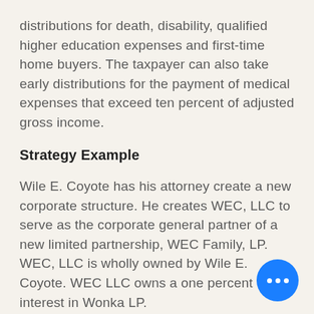distributions for death, disability, qualified higher education expenses and first-time home buyers. The taxpayer can also take early distributions for the payment of medical expenses that exceed ten percent of adjusted gross income.
Strategy Example
Wile E. Coyote has his attorney create a new corporate structure. He creates WEC, LLC to serve as the corporate general partner of a new limited partnership, WEC Family, LP. WEC, LLC is wholly owned by Wile E. Coyote. WEC LLC owns a one percent interest in Wonka LP. Wile E has a wife and three minor